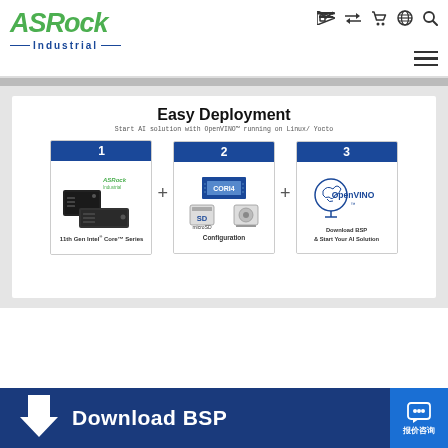ASRock Industrial — navigation header with logo and icons
Easy Deployment
Start AI solution with OpenVINO™ running on Linux/ Yocto
[Figure (infographic): Three-step easy deployment diagram: Step 1 - 11th Gen Intel Core Series hardware, Step 2 - Configuration (CORI4, SD, storage), Step 3 - Download BSP & Start Your AI Solution with OpenVINO logo]
Download BSP
报价咨询